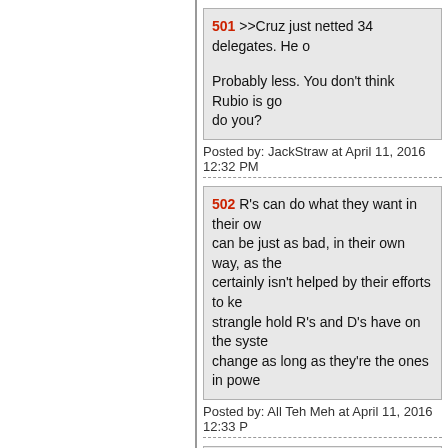501 >>Cruz just netted 34 delegates. He o
Probably less. You don't think Rubio is go do you?
Posted by: JackStraw at April 11, 2016 12:32 PM
502 R's can do what they want in their ow can be just as bad, in their own way, as the certainly isn't helped by their efforts to ke strangle hold R's and D's have on the syste change as long as they're the ones in powe
Posted by: All Teh Meh at April 11, 2016 12:33 P
503 "And Kasich is running hard to be Tru
Kasich may not be Trump's first pick (nor as a First Ballot Dowry. He can also help T deals have been struck.
Posted by: Ignoramus at April 11, 2016 12:33 PM